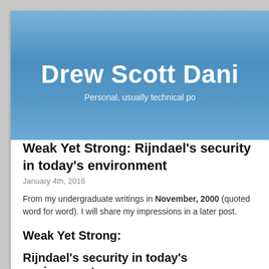Drew Scott Dani
Personal, usually technical po
Weak Yet Strong: Rijndael's security in today's environment
January 4th, 2016
From my undergraduate writings in November, 2000 (quoted word for word). I will share my impressions in a later post.
Weak Yet Strong:
Rijndael's security in today's environment